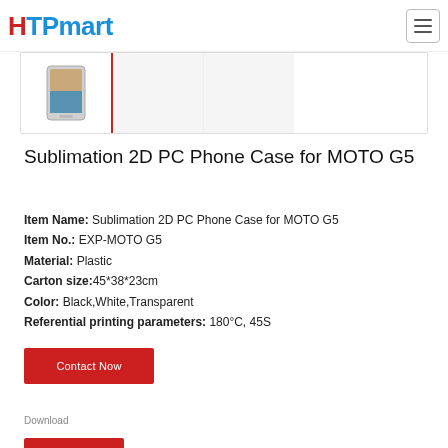HTPmart
[Figure (photo): Thumbnail strip showing product images of phone case; first thumbnail active with red border showing phone case image, two blank gray thumbnails beside it]
Sublimation 2D PC Phone Case for MOTO G5
Item Name: Sublimation 2D PC Phone Case for MOTO G5
Item No.: EXP-MOTO G5
Material: Plastic
Carton size:45*38*23cm
Color: Black,White,Transparent
Referential printing parameters: 180°C, 45S
Contact Now
Download